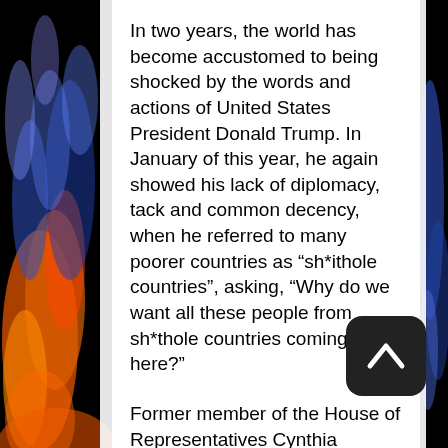In two years, the world has become accustomed to being shocked by the words and actions of United States President Donald Trump. In January of this year, he again showed his lack of diplomacy, tack and common decency, when he referred to many poorer countries as “sh*ithole countries”, asking, “Why do we want all these people from sh*thole countries coming here?”
Former member of the House of Representatives Cynthia McKinney, in the new book she has edited, How the US Creates ‘Sh*thole’ Countries, (Clarity Press) has gathered a collection of essays, including one her own, that clearly shows that it is the U.S. that is largely responsible for the poverty and